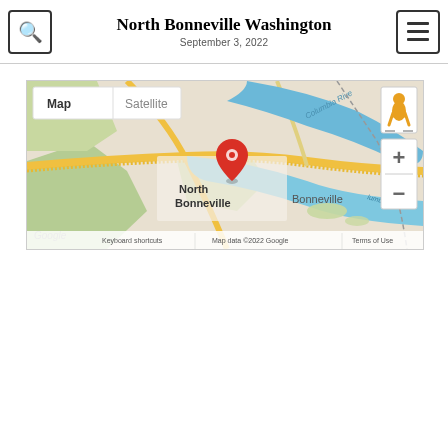North Bonneville Washington
September 3, 2022
[Figure (map): Google Map showing North Bonneville, Washington with a red location pin marker. The map shows the Columbia River running through the area, with North Bonneville labeled on the left side and Bonneville labeled on the right side. Map controls include Map/Satellite toggle tabs, a street view person icon, and zoom in/out buttons. The map footer shows 'Google', 'Keyboard shortcuts', 'Map data ©2022 Google', and 'Terms of Use'.]